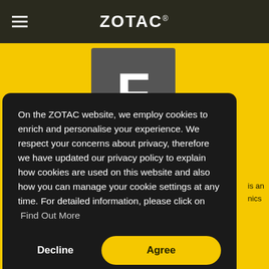ZOTAC®
[Figure (logo): Gray square box with white letter F, representing a Facebook or social media icon on a yellow background]
On the ZOTAC website, we employ cookies to enrich and personalise your experience. We respect your concerns about privacy, therefore we have updated our privacy policy to explain how cookies are used on this website and also how you can manage your cookie settings at any time. For detailed information, please click on Find Out More
Decline
Agree